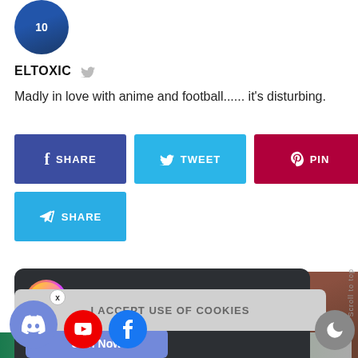[Figure (photo): Circular avatar image showing jersey number 10]
ELTOXIC
Madly in love with anime and football...... it's disturbing.
[Figure (infographic): Social share buttons: f SHARE (blue), Twitter TWEET (light blue), Pinterest PIN (dark red), Telegram SHARE (blue)]
[Figure (infographic): AnimeWorld Official Server Discord card with anime avatar, title, subtitle 'The greatest Weebs Only Server!' and Join Now button]
I ACCEPT USE OF COOKIES
[Figure (logo): Discord bubble icon with X close button, YouTube red circle, Facebook blue circle]